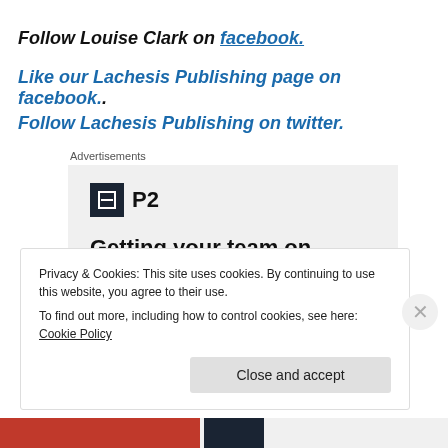Follow Louise Clark on facebook.
Like our Lachesis Publishing page on facebook.
Follow Lachesis Publishing on twitter.
Advertisements
[Figure (other): P2 advertisement with logo and tagline: Getting your team on the same page is easy.]
Privacy & Cookies: This site uses cookies. By continuing to use this website, you agree to their use.
To find out more, including how to control cookies, see here: Cookie Policy
Close and accept